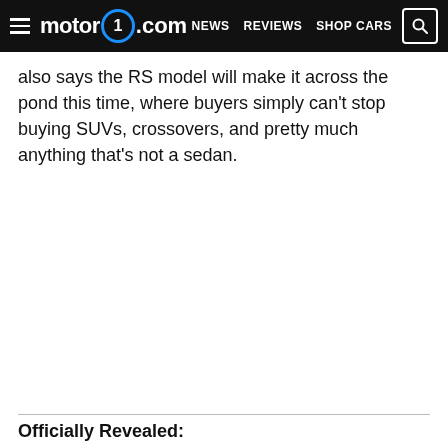motor1.com | NEWS | REVIEWS | SHOP CARS
also says the RS model will make it across the pond this time, where buyers simply can't stop buying SUVs, crossovers, and pretty much anything that's not a sedan.
Officially Revealed: